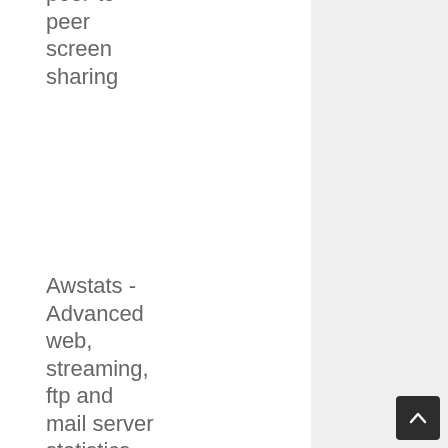peer-to-peer screen sharing
Awstats - Advanced web, streaming, ftp and mail server statistics
Redux - Predictable state container for JavaScript